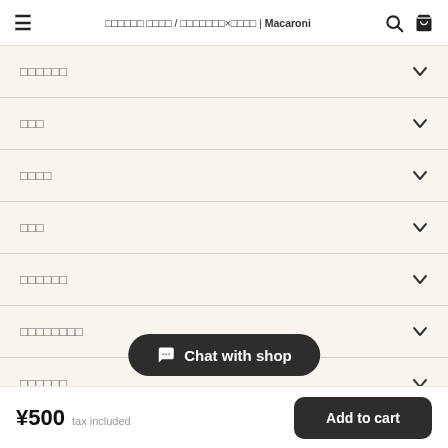≡  □□□□□□ □□□□ / □□□□□□□×□□□□ | Macaroni  🔍  🛒
□□□□□□
□□□
□□□□
□□□
□□□□□□
□□□□□□□□
□□□□□□
Chat with shop
¥500  tax included   Add to cart